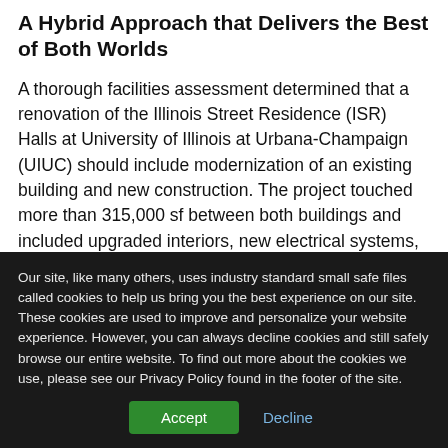A Hybrid Approach that Delivers the Best of Both Worlds
A thorough facilities assessment determined that a renovation of the Illinois Street Residence (ISR) Halls at University of Illinois at Urbana-Champaign (UIUC) should include modernization of an existing building and new construction. The project touched more than 315,000 sf between both buildings and included upgraded interiors, new electrical systems, individual-use bathrooms and more.
[partial text cut off at bottom]
Our site, like many others, uses industry standard small safe files called cookies to help us bring you the best experience on our site. These cookies are used to improve and personalize your website experience. However, you can always decline cookies and still safely browse our entire website. To find out more about the cookies we use, please see our Privacy Policy found in the footer of the site.